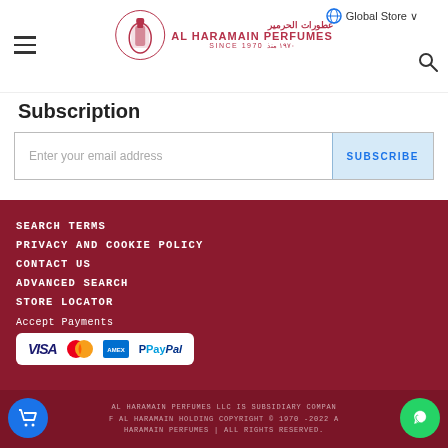AL HARAMAIN PERFUMES SINCE 1970 | Global Store
Subscription
Enter your email address
SUBSCRIBE
SEARCH TERMS
PRIVACY AND COOKIE POLICY
CONTACT US
ADVANCED SEARCH
STORE LOCATOR
Accept Payments
[Figure (logo): Payment logos: VISA, Mastercard, American Express, PayPal]
AL HARAMAIN PERFUMES LLC IS SUBSIDIARY COMPANY OF AL HARAMAIN HOLDING COPYRIGHT © 1970 -2022 AL HARAMAIN PERFUMES | ALL RIGHTS RESERVED.